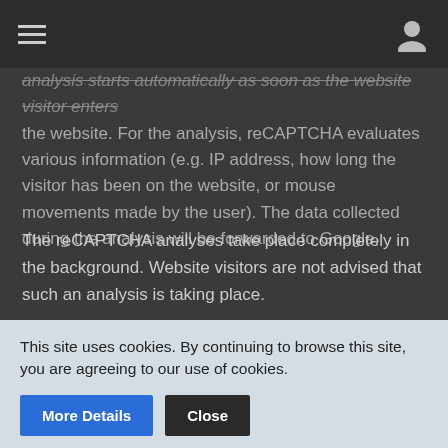[hamburger menu] [user icon]
analysis starts automatically as soon as the website visitor enters the website. For the analysis, reCAPTCHA evaluates various information (e.g. IP address, how long the visitor has been on the website, or mouse movements made by the user). The data collected during the analysis will be forwarded to Google.
The reCAPTCHA analyses take place completely in the background. Website visitors are not advised that such an analysis is taking place.
Data processing is based on Art. 6 (1) (f) GDPR. The website operator has a legitimate interest in protecting its site from abusive automated crawling and spam.
For more information about Google reCAPTCHA and Google's privacy policy, please visit the following links:
This site uses cookies. By continuing to browse this site, you are agreeing to our use of cookies.
More Details  Close